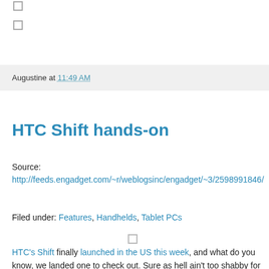Augustine at 11:49 AM
HTC Shift hands-on
Source: http://feeds.engadget.com/~r/weblogsinc/engadget/~3/2598991846/
Filed under: Features, Handhelds, Tablet PCs
HTC's Shift finally launched in the US this week, and what do you know, we landed one to check out. Sure as hell ain't too shabby for a UMPC, but while it's got a number of things working in its favor (versatile form factor, solid hardware, lots of niceties like a fingerprint reader, 3G, Windows Mobile, etc.), it's got a number of bits working pretty hard against it. Some thoughts: